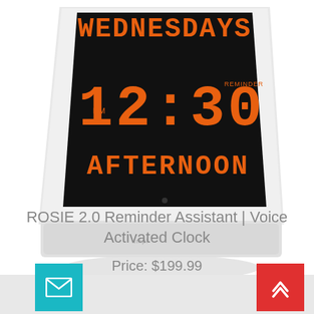[Figure (photo): A white digital desk/table clock displaying WEDNESDAYS, 12:30 PM, AFTERNOON in orange LED digits on a black screen. The clock has a wedge/tent shape with a white casing and a small speaker dot at the bottom center. Brand mark 'umpl' visible on base.]
ROSIE 2.0 Reminder Assistant | Voice Activated Clock
Price: $199.99